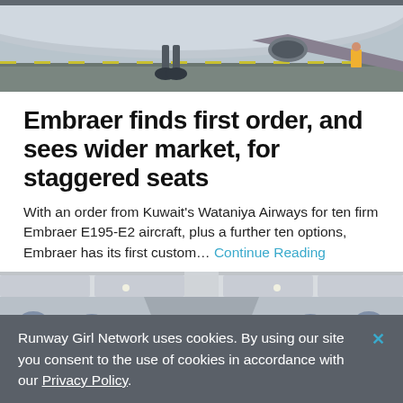[Figure (photo): Top portion of an airplane on tarmac, showing underside of fuselage and wing, with airport ground visible]
Embraer finds first order, and sees wider market, for staggered seats
With an order from Kuwait's Wataniya Airways for ten firm Embraer E195-E2 aircraft, plus a further ten options, Embraer has its first custom… Continue Reading
[Figure (photo): Interior of an airplane cabin showing rows of business class seats with blue headrests and pillows, photographed from the rear looking forward]
Runway Girl Network uses cookies. By using our site you consent to the use of cookies in accordance with our Privacy Policy.